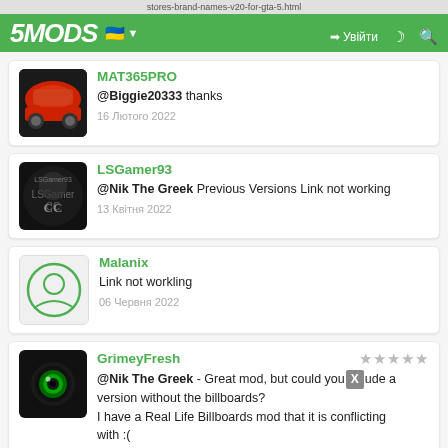stores-brand-names-v20-for-gta-5.html | 5MODS | Увійти
MAT365PRO
@Biggie20333 thanks
16 Лютого 2022
LSGamer93
@Nik The Greek Previous Versions Link not working
13 Квітня 2022
Malanix
Link not workling
06 Червня 2022
GrimeyFresh
@Nik The Greek - Great mod, but could you [X]ude a version without the billboards?
I have a Real Life Billboards mod that it is conflicting
with :(